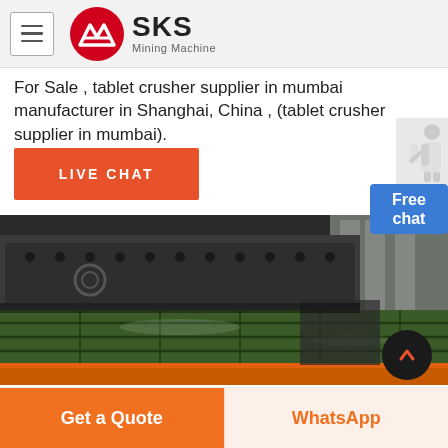[Figure (logo): SKS Mining Machine logo with red circular emblem and brand name]
For Sale , tablet crusher supplier in mumbai manufacturer in Shanghai, China , (tablet crusher supplier in mumbai).
LIVE CHAT
[Figure (photo): Industrial mining machine equipment — vibrating screen with green mesh bed, dark metal frame, orange border, industrial facility background]
Free chat
Get a Quote
WhatsApp